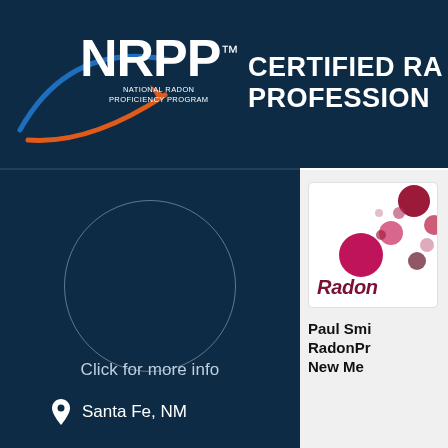[Figure (logo): NRPP (National Radon Proficiency Program) logo with blue swoosh and orange arrow pointing right, alongside text 'CERTIFIED RADON PROFESSIONAL']
[Figure (illustration): Circular profile photo placeholder outline on dark blue background]
Click for more info
Santa Fe, NM
[Figure (logo): RadonPros company logo with colorful dots/bubbles in pink, maroon and grey colors, with text 'Radon']
Paul Smi... RadonPr... New Me...